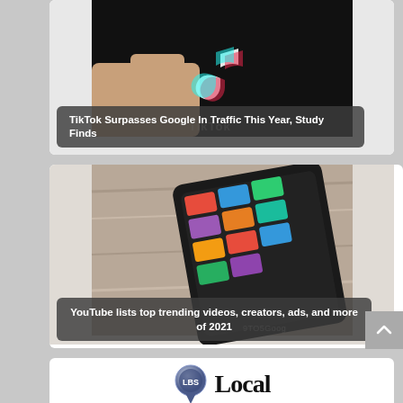[Figure (photo): Hand holding a phone displaying the TikTok logo on a black background. Caption overlay reads: TikTok Surpasses Google In Traffic This Year, Study Finds]
TikTok Surpasses Google In Traffic This Year, Study Finds
[Figure (photo): Smartphone lying on a wooden table showing YouTube app with colorful video thumbnails. Caption overlay reads: YouTube lists top trending videos, creators, ads, and more of 2021]
YouTube lists top trending videos, creators, ads, and more of 2021
[Figure (logo): LBS Local Broadcast Sales logo: blue pin/globe icon with LBS text, followed by 'Local' in large black serif font and 'Broadcast Sales' in smaller text below]